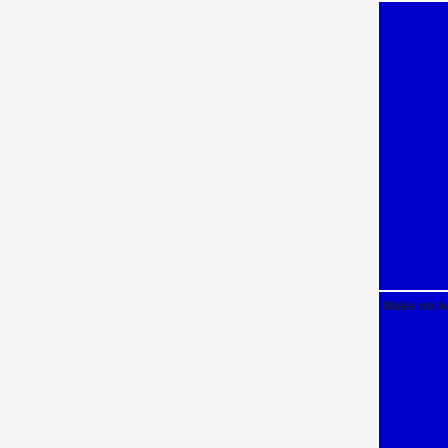|  | Feature/Mode | Details |
| --- | --- | --- |
|  |  | function { | #WP-navigator | () => {activateWindow( | | NA=lightpickwindow [2 ] | UIActivate |
|  | Make no keyboard | CR+Move | TOCO next { | focused { | #WP-navigator | () => {activateWindow( | | NA= lightpickwindow [2 ] | UIAcceptk |
|  | Make no mouse | CELIKList { | TOCO next { | focused { | #WP-navigator | () => {activateWindow( | | TABA=lightpickwindow [2 ] | UIElement |
|  | TPM | CR+Move { |